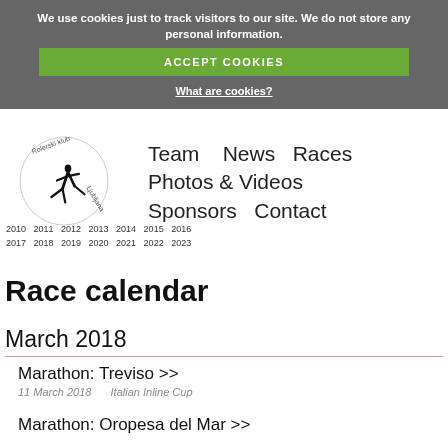We use cookies just to track visitors to our site. We do not store any personal information.
ACCEPT COOKIES
What are cookies?
[Figure (logo): Rollerski club Ljubljana logo with skater silhouette]
Team   News   Races
Photos & Videos
Sponsors   Contact
Race calendar
March 2018
Marathon: Treviso >>
11 March 2018   Italian Inline Cup
Marathon: Oropesa del Mar >>